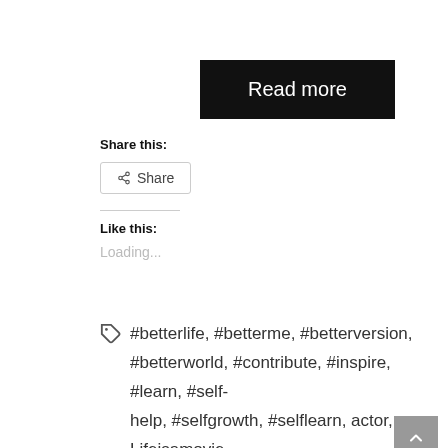Read more
Share this:
Share
Like this:
Loading...
#betterlife, #betterme, #betterversion, #betterworld, #contribute, #inspire, #learn, #self-help, #selfgrowth, #selflearn, actor, Lifeisamovie, perfectstorm, wearenothing